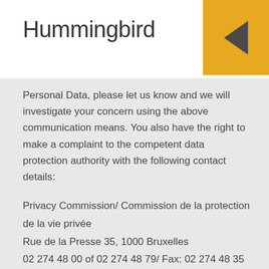Hummingbird
Personal Data, please let us know and we will investigate your concern using the above communication means. You also have the right to make a complaint to the competent data protection authority with the following contact details:
Privacy Commission/ Commission de la protection de la vie privée
Rue de la Presse 35, 1000 Bruxelles
02 274 48 00 of 02 274 48 79/ Fax: 02 274 48 35
https://www.privacycomission.be/fr
commission@privacycommission.be
Data retention and deletion